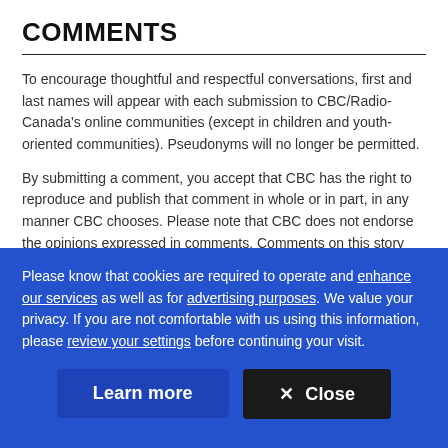COMMENTS
To encourage thoughtful and respectful conversations, first and last names will appear with each submission to CBC/Radio-Canada's online communities (except in children and youth-oriented communities). Pseudonyms will no longer be permitted.
By submitting a comment, you accept that CBC has the right to reproduce and publish that comment in whole or in part, in any manner CBC chooses. Please note that CBC does not endorse the opinions expressed in comments. Comments on this story are moderated according to our Submission
Please know that cookies are required to operate and enhance our services as well as for advertising purposes. We value your privacy. If you are not comfortable with us using this information, please review your settings before continuing your visit.
Learn more
✕  Close